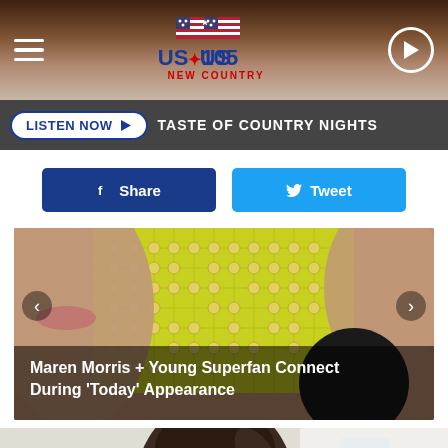US 105 NEW COUNTRY
LISTEN NOW  TASTE OF COUNTRY NIGHTS
Share  Tweet
[Figure (photo): Slideshow carousel image showing Maren Morris with a young superfan, with caption: Maren Morris + Young Superfan Connect During 'Today' Appearance]
[Figure (photo): Bottom partial image showing a woman with headphones in a bright room]